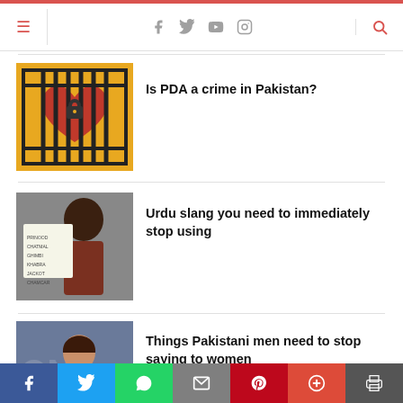Navigation header with hamburger menu, social icons (Facebook, Twitter, YouTube, Instagram), and search icon
[Figure (illustration): Yellow background artwork showing a red heart behind prison bars with a padlock]
Is PDA a crime in Pakistan?
[Figure (photo): Woman holding a sign with handwritten Urdu slang words]
Urdu slang you need to immediately stop using
[Figure (photo): Woman in colorful outfit making a stop gesture with her hand]
Things Pakistani men need to stop saying to women
Social share bar: Facebook, Twitter, WhatsApp, Email, Pinterest, Plus, Print